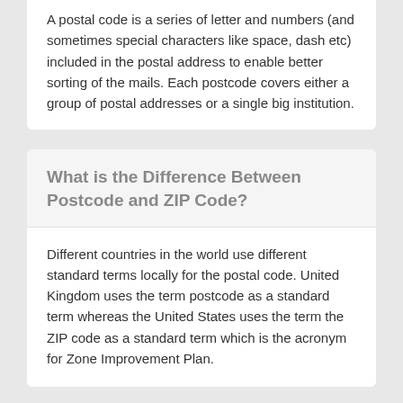A postal code is a series of letter and numbers (and sometimes special characters like space, dash etc) included in the postal address to enable better sorting of the mails. Each postcode covers either a group of postal addresses or a single big institution.
What is the Difference Between Postcode and ZIP Code?
Different countries in the world use different standard terms locally for the postal code. United Kingdom uses the term postcode as a standard term whereas the United States uses the term the ZIP code as a standard term which is the acronym for Zone Improvement Plan.
What is Outward Code in GU1 1LP?